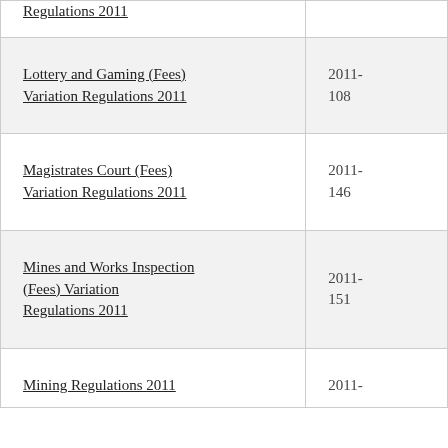| Regulation Name | Number |
| --- | --- |
| Regulations 2011 |  |
| Lottery and Gaming (Fees) Variation Regulations 2011 | 2011-108 |
| Magistrates Court (Fees) Variation Regulations 2011 | 2011-146 |
| Mines and Works Inspection (Fees) Variation Regulations 2011 | 2011-151 |
| Mining Regulations 2011 | 2011- |